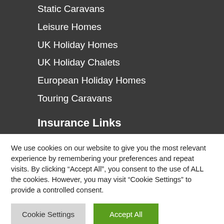Static Caravans
Leisure Homes
UK Holiday Homes
UK Holiday Chalets
European Holiday Homes
Touring Caravans
Insurance Links
Park Home Insurance
We use cookies on our website to give you the most relevant experience by remembering your preferences and repeat visits. By clicking “Accept All”, you consent to the use of ALL the cookies. However, you may visit "Cookie Settings" to provide a controlled consent.
Cookie Settings
Accept All